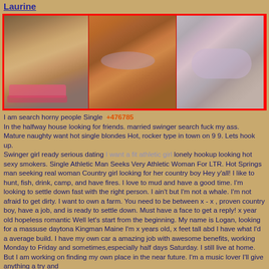Laurine
[Figure (photo): Three photos of a woman in lingerie/underwear arranged horizontally with a red border and red background filler on the right]
I am search horny people Single +476785 In the halfway house looking for friends. married swinger search fuck my ass.   Mature naughty want hot single blondes Hot, rocker type in town on 9 9. Lets hook up.
Swinger girl ready serious dating I want a fit athletic girl lonely hookup looking hot sexy smokers. Single Athletic Man Seeks Very Athletic Woman For LTR. Hot Springs man seeking real woman Country girl looking for her country boy Hey y'all! I like to hunt, fish, drink, camp, and have fires. I love to mud and have a good time. I'm looking to settle down fast with the right person. I ain't but I'm not a whale. I'm not afraid to get dirty. I want to own a farm. You need to be between x - x , proven country boy, have a job, and is ready to settle down. Must have a face to get a reply! x year old hopeless romantic Well let's start from the beginning. My name is Logan, looking for a massuse daytona Kingman Maine I'm x years old, x feet tall abd I have what I'd a average build. I have my own car a amazing job with awesome benefits, working Monday to Friday and sometimes,especially half days Saturday. I still live at home. But I am working on finding my own place in the near future. I'm a music lover I'll give anything a try and